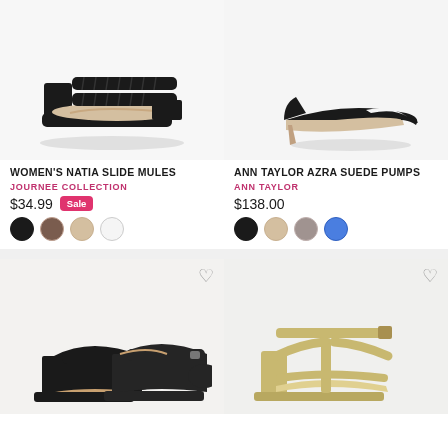[Figure (photo): Women's black block heel slide mule sandals with braided straps, top-down angle on white background]
WOMEN'S NATIA SLIDE MULES
JOURNEE COLLECTION
$34.99
Sale
[Figure (photo): Ann Taylor black suede d'Orsay pointed-toe stiletto pumps on white background]
ANN TAYLOR AZRA SUEDE PUMPS
ANN TAYLOR
$138.00
[Figure (photo): Black suede Mary Jane block heel pumps with ankle strap buckle]
[Figure (photo): Gold/champagne strappy block heel sandals with T-strap and ankle strap]